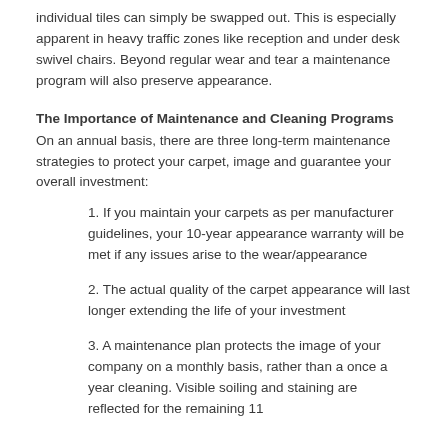individual tiles can simply be swapped out. This is especially apparent in heavy traffic zones like reception and under desk swivel chairs. Beyond regular wear and tear a maintenance program will also preserve appearance.
The Importance of Maintenance and Cleaning Programs
On an annual basis, there are three long-term maintenance strategies to protect your carpet, image and guarantee your overall investment:
1. If you maintain your carpets as per manufacturer guidelines, your 10-year appearance warranty will be met if any issues arise to the wear/appearance
2. The actual quality of the carpet appearance will last longer extending the life of your investment
3. A maintenance plan protects the image of your company on a monthly basis, rather than a once a year cleaning. Visible soiling and staining are reflected for the remaining 11